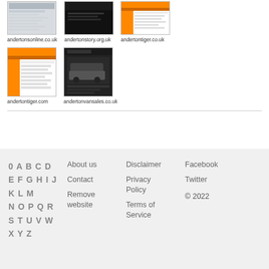[Figure (screenshot): Thumbnail screenshot of andertonsonline.co.uk]
andertonsonline.co.uk
[Figure (screenshot): Thumbnail screenshot of andertonstory.org.uk]
andertonstory.org.uk
[Figure (screenshot): Thumbnail screenshot of andertontiger.co.uk]
andertontiger.co.uk
[Figure (screenshot): Thumbnail screenshot of andertontiger.com]
andertontiger.com
[Figure (screenshot): Thumbnail screenshot of andertonvansales.co.uk]
andertonvansales.co.uk
0 A B C D E F G H I J K L M N O P Q R S T U V W X Y Z
About us
Contact
Remove website
Disclaimer
Privacy Policy
Terms of Service
Facebook
Twitter
© 2022